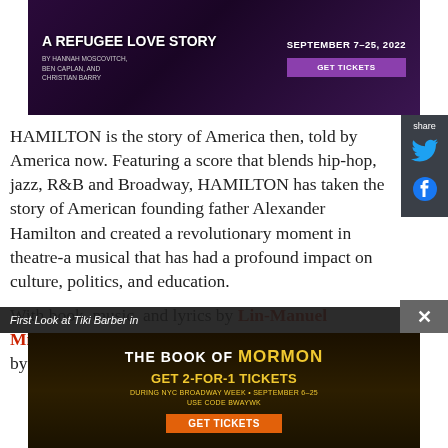[Figure (photo): Advertisement for 'A Refugee Love Story' showing a person with pink hair holding a microphone, with text SEPTEMBER 7-25, 2022 and GET TICKETS button on purple background]
HAMILTON is the story of America then, told by America now. Featuring a score that blends hip-hop, jazz, R&B and Broadway, HAMILTON has taken the story of American founding father Alexander Hamilton and created a revolutionary moment in theatre-a musical that has had a profound impact on culture, politics, and education.
With book, music, and lyrics by Lin-Manuel Miranda, direction by Thomas Kail, choreography by Andy Blankenbuehler, and musical supervision
First Look at Tiki Barber in
[Figure (photo): Advertisement for The Book of Mormon - GET 2-FOR-1 TICKETS during NYC Broadway Week September 6-25, use code BWAYWK, GET TICKETS button on gold/black background]